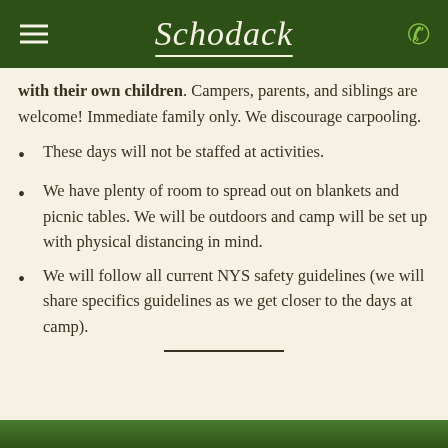Schodack
with their own children. Campers, parents, and siblings are welcome! Immediate family only. We discourage carpooling.
These days will not be staffed at activities.
We have plenty of room to spread out on blankets and picnic tables. We will be outdoors and camp will be set up with physical distancing in mind.
We will follow all current NYS safety guidelines (we will share specifics guidelines as we get closer to the days at camp).
[Figure (photo): Outdoor camp scene at the bottom of the page]